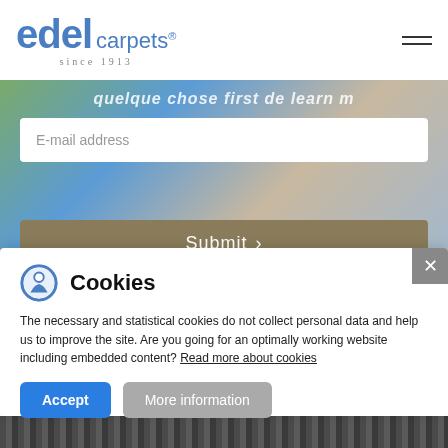[Figure (logo): Edel Carpets logo with blue text and 'since 1913' tagline]
[Figure (screenshot): Website hero section with blurred magazine/book collage background, email address input field and Submit button]
Cookies
The necessary and statistical cookies do not collect personal data and help us to improve the site. Are you going for an optimally working website including embedded content? Read more about cookies
Accept
More information